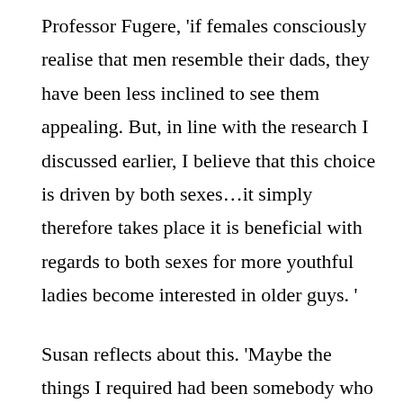Professor Fugere, ‘if females consciously realise that men resemble their dads, they have been less inclined to see them appealing. But, in line with the research I discussed earlier, I believe that this choice is driven by both sexes…it simply therefore takes place it is beneficial with regards to both sexes for more youthful ladies become interested in older guys. ’
Susan reflects about this. ‘Maybe the things I required had been somebody who had been